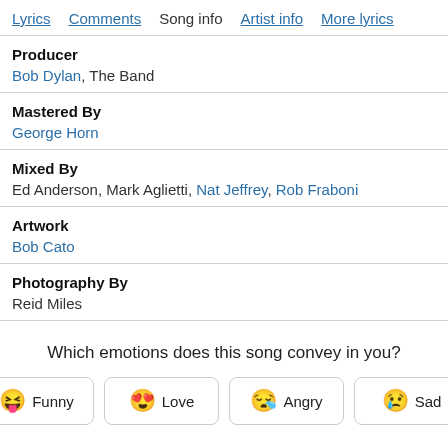Lyrics  Comments  Song info  Artist info  More lyrics
Producer
Bob Dylan, The Band
Mastered By
George Horn
Mixed By
Ed Anderson, Mark Aglietti, Nat Jeffrey, Rob Fraboni
Artwork
Bob Cato
Photography By
Reid Miles
Which emotions does this song convey in you?
Funny
Love
Angry
Sad